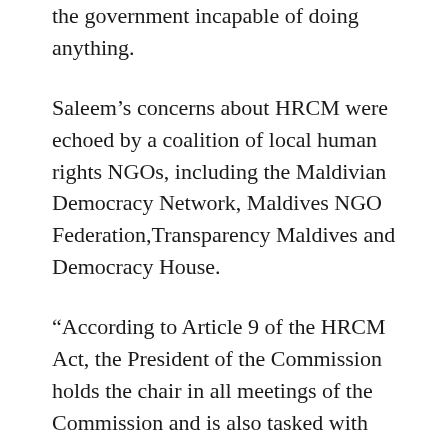the government incapable of doing anything.
Saleem’s concerns about HRCM were echoed by a coalition of local human rights NGOs, including the Maldivian Democracy Network, Maldives NGO Federation,​Transparency Maldives and Democracy House.
“According to Article 9 of the HRCM Act, the President of the Commission holds the chair in all meetings of the Commission and is also tasked with assigning complaints that the Commission receives to the different members,” the coalition observed in a statement.
“The Vice-President of the Commission takes over these responsibilities when the President is either absent or unable to perform these duties. Thus, the non appointment of either a President or a Vice-